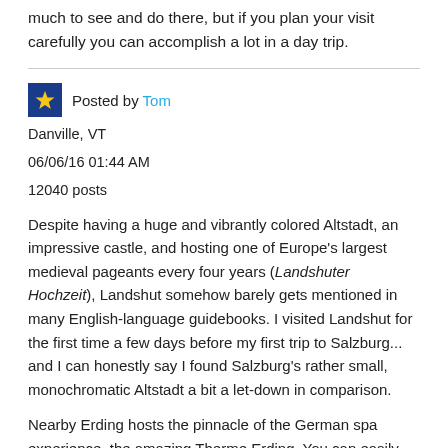much to see and do there, but if you plan your visit carefully you can accomplish a lot in a day trip.
Posted by Tom
Danville, VT
06/06/16 01:44 AM
12040 posts
Despite having a huge and vibrantly colored Altstadt, an impressive castle, and hosting one of Europe's largest medieval pageants every four years (Landshuter Hochzeit), Landshut somehow barely gets mentioned in many English-language guidebooks. I visited Landshut for the first time a few days before my first trip to Salzburg... and I can honestly say I found Salzburg's rather small, monochromatic Altstadt a bit a let-down in comparison.
Nearby Erding hosts the pinnacle of the German spa experience, the amazing Therme Erding. You can easily spend all day relaxing here.